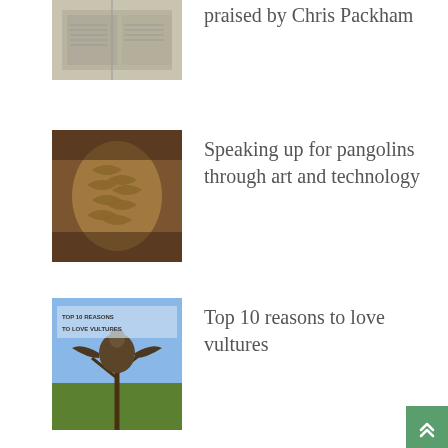[Figure (photo): Newspaper spread open, partially visible at top of page]
praised by Chris Packham
[Figure (photo): Close-up of a pangolin showing its distinctive scales]
Speaking up for pangolins through art and technology
[Figure (photo): Vulture perched in tree with blue sky background, overlaid with text 'Top 10 reasons to love vultures']
Top 10 reasons to love vultures
[Figure (photo): Children sitting at desks in a classroom in Kenya, reading colorful books]
Connections With Nature books reach Talek School, Kenya
[Figure (photo): Landscape scene, partially visible at bottom of page]
A Letter to My Younger Self